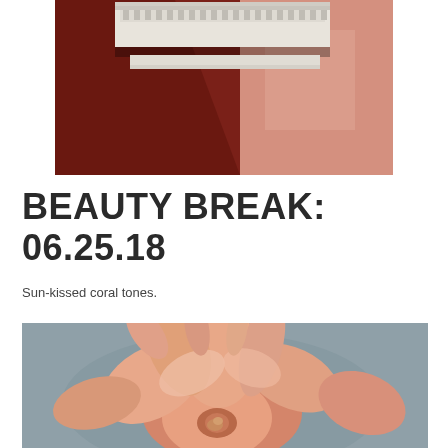[Figure (photo): Architectural photo showing a neoclassical building facade with ornate white cornice/entablature against a deep red/terracotta wall, with bright sunlight and shadows on a pink/coral textured surface to the right.]
BEAUTY BREAK: 06.25.18
Sun-kissed coral tones.
[Figure (photo): Close-up photo of large coral/peach colored feather flowers or decorative fabric blooms against a muted blue-gray background.]